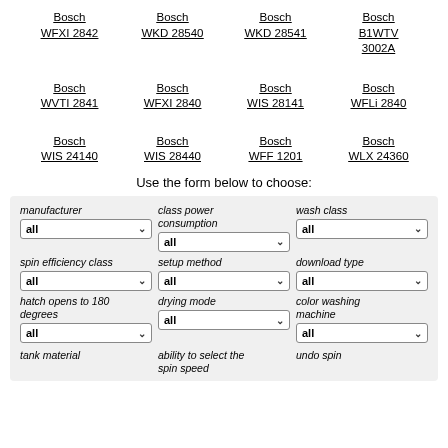Bosch WFXI 2842
Bosch WKD 28540
Bosch WKD 28541
Bosch B1WTV 3002A
Bosch WVTI 2841
Bosch WFXI 2840
Bosch WIS 28141
Bosch WFLi 2840
Bosch WIS 24140
Bosch WIS 28440
Bosch WFF 1201
Bosch WLX 24360
Use the form below to choose:
manufacturer
class power consumption
wash class
spin efficiency class
setup method
download type
hatch opens to 180 degrees
drying mode
color washing machine
tank material
ability to select the spin speed
undo spin